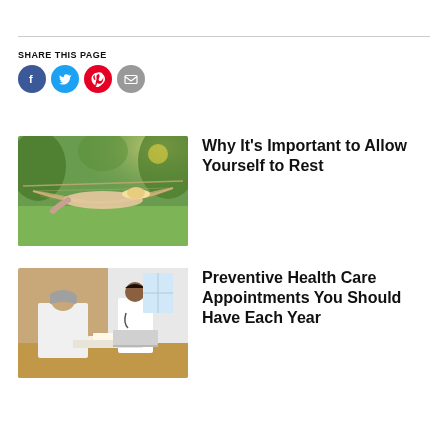SHARE THIS PAGE
[Figure (illustration): Social sharing icons: Facebook (blue), Twitter (light blue), Pinterest (red), Email (grey)]
[Figure (photo): Person relaxing in a hammock outdoors with sun and greenery in background, wearing a sun hat]
Why It's Important to Allow Yourself to Rest
[Figure (photo): Patient seen from behind talking to a doctor in a white coat at a desk in a medical office]
Preventive Health Care Appointments You Should Have Each Year